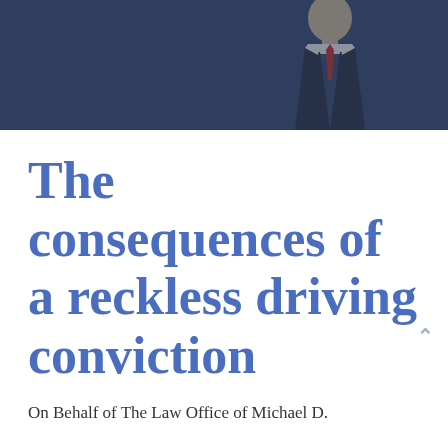[Figure (photo): A man in a dark business suit with a red tie photographed from the chest up against a dark blue background suggesting a courthouse or legal setting. The image has a dark blue overlay tint.]
The consequences of a reckless driving conviction
On Behalf of The Law Office of Michael D.